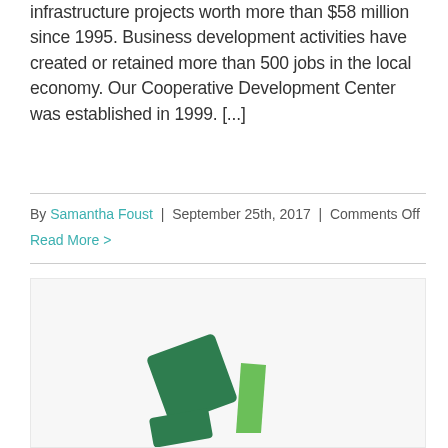infrastructure projects worth more than $58 million since 1995. Business development activities have created or retained more than 500 jobs in the local economy. Our Cooperative Development Center was established in 1999. [...]
By Samantha Foust | September 25th, 2017 | Comments Off
Read More >
[Figure (illustration): Green geometric shapes resembling building blocks or game pieces on a light grey background]